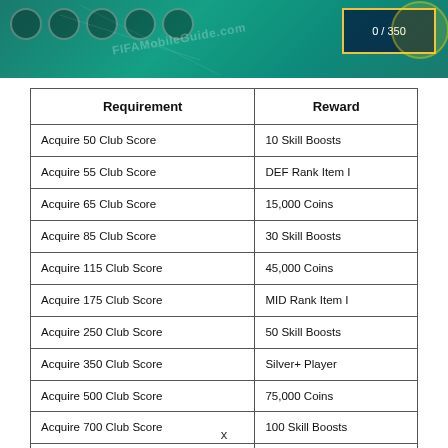[Figure (screenshot): FIFA Mobile game banner showing teal/green background with circular player icons, FIFAMobileGuide.com watermark, and a score box showing 0/350 in top right corner]
| Requirement | Reward |
| --- | --- |
| Acquire 50 Club Score | 10 Skill Boosts |
| Acquire 55 Club Score | DEF Rank Item I |
| Acquire 65 Club Score | 15,000 Coins |
| Acquire 85 Club Score | 30 Skill Boosts |
| Acquire 115 Club Score | 45,000 Coins |
| Acquire 175 Club Score | MID Rank Item I |
| Acquire 250 Club Score | 50 Skill Boosts |
| Acquire 350 Club Score | Silver+ Player |
| Acquire 500 Club Score | 75,000 Coins |
| Acquire 700 Club Score | 100 Skill Boosts |
| Acquire 950 Club Score | 150,000 Coins |
|  |  |
x